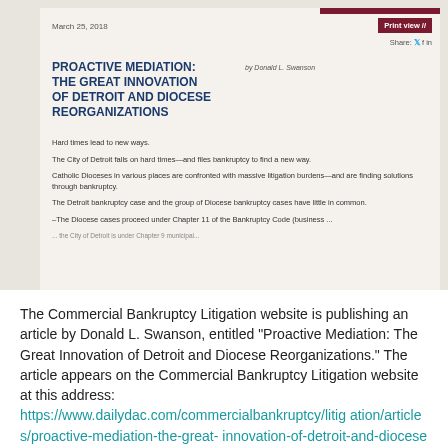[Figure (screenshot): Screenshot of a web article from the Commercial Bankruptcy Litigation website showing the article titled 'Proactive Mediation: The Great Innovation of Detroit and Diocese Reorganizations' by Donald L. Swanson, dated March 25, 2018, with article text beginning.]
The Commercial Bankruptcy Litigation website is publishing an article by Donald L. Swanson, entitled "Proactive Mediation: The Great Innovation of Detroit and Diocese Reorganizations." The article appears on the Commercial Bankruptcy Litigation website at this address:
https://www.dailydac.com/commercialbankruptcy/litigation/articles/proactive-mediation-the-great-innovation-of-detroit-and-diocese-reorgan/